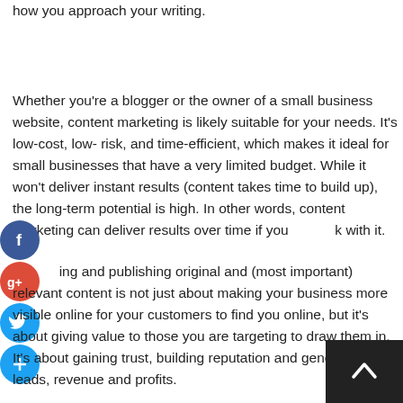how you approach your writing.
Whether you're a blogger or the owner of a small business website, content marketing is likely suitable for your needs. It's low-cost, low-risk, and time-efficient, which makes it ideal for small businesses that have a very limited budget. While it won't deliver instant results (content takes time to build up), the long-term potential is high. In other words, content marketing can deliver results over time if you stick with it.
...ing and publishing original and (most important) relevant content is not just about making your business more visible online for your customers to find you online, but it's about giving value to those you are targeting to draw them in. It's about gaining trust, building reputation and generating leads, revenue and profits.
[Figure (infographic): Social sharing buttons: Facebook (blue circle with f), Google+ (red circle with g+), Twitter (blue circle with bird icon), Add/share (blue circle with + icon)]
[Figure (other): Back to top button (dark square with upward chevron arrow)]